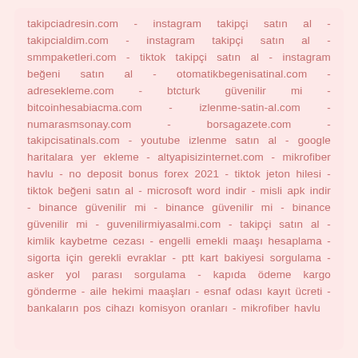takipciadresin.com - instagram takipçi satın al - takipcialdim.com - instagram takipçi satın al - smmpaketleri.com - tiktok takipçi satın al - instagram beğeni satın al - otomatikbegenisatinal.com - adresekleme.com - btcturk güvenilir mi - bitcoinhesabiacma.com - izlenme-satin-al.com - numarasmsonay.com - borsagazete.com - takipcisatinals.com - youtube izlenme satın al - google haritalara yer ekleme - altyapisizinternet.com - mikrofiber havlu - no deposit bonus forex 2021 - tiktok jeton hilesi - tiktok beğeni satın al - microsoft word indir - misli apk indir - binance güvenilir mi - binance güvenilir mi - binance güvenilir mi - guvenilirmiyasalmi.com - takipçi satın al - kimlik kaybetme cezası - engelli emekli maaşı hesaplama - sigorta için gerekli evraklar - ptt kart bakiyesi sorgulama - asker yol parası sorgulama - kapıda ödeme kargo gönderme - aile hekimi maaşları - esnaf odası kayıt ücreti - bankaların pos cihazı komisyon oranları - mikrofiber havlu